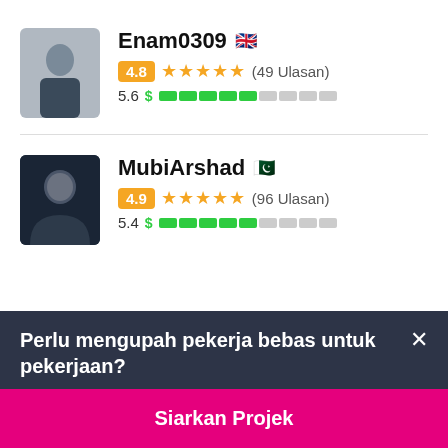[Figure (photo): Profile photo of Enam0309 - man in suit, silhouette style gray background]
Enam0309 🇬🇧
4.8 ★★★★★ (49 Ulasan)
5.6 $ ████░░░░░
[Figure (photo): Profile photo of MubiArshad - man in dark setting]
MubiArshad 🇵🇰
4.9 ★★★★★ (96 Ulasan)
5.4 $ ████░░░░░
Perlu mengupah pekerja bebas untuk pekerjaan?
Siarkan Projek